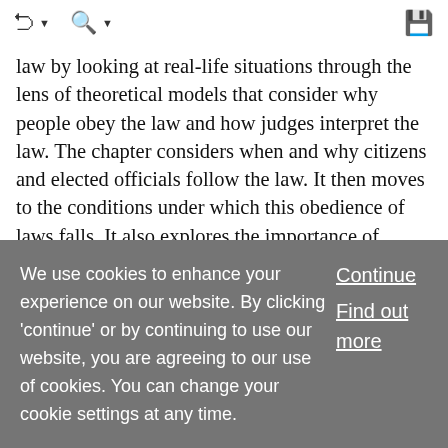[toolbar with navigation and save icons]
law by looking at real-life situations through the lens of theoretical models that consider why people obey the law and how judges interpret the law. The chapter considers when and why citizens and elected officials follow the law. It then moves to the conditions under which this obedience of laws falls. It also explores the importance of courts and judges in interpreting the law, and analyses the interaction of politics and law as a way to try to understand how judges come to their decisions. In… … Show More
Chapter
We use cookies to enhance your experience on our website. By clicking 'continue' or by continuing to use our website, you are agreeing to our use of cookies. You can change your cookie settings at any time.